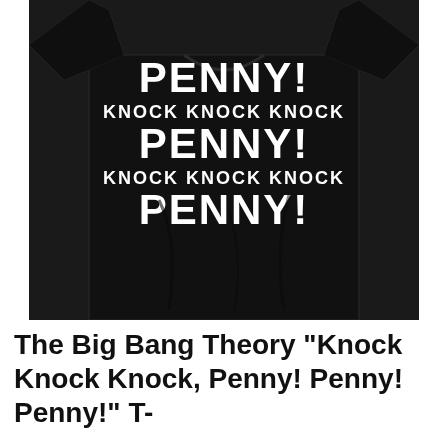[Figure (photo): A black t-shirt with bold white text reading: PENNY! KNOCK KNOCK KNOCK PENNY! KNOCK KNOCK KNOCK PENNY! — referencing the Big Bang Theory running gag.]
The Big Bang Theory "Knock Knock Knock, Penny! Penny! Penny!" T-